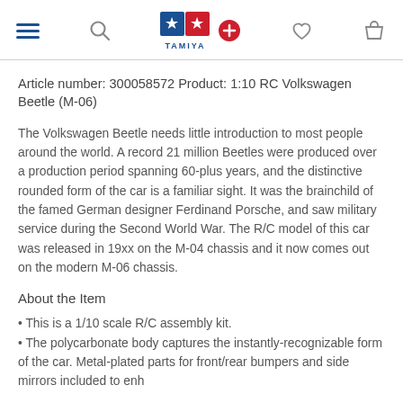Tamiya website header with navigation icons: hamburger menu, search, Tamiya logo with plus button, wishlist heart, and shopping bag
Article number: 300058572 Product: 1:10 RC Volkswagen Beetle (M-06)
The Volkswagen Beetle needs little introduction to most people around the world. A record 21 million Beetles were produced over a production period spanning 60-plus years, and the distinctive rounded form of the car is a familiar sight. It was the brainchild of the famed German designer Ferdinand Porsche, and saw military service during the Second World War. The R/C model of this car was released in 19xx on the M-04 chassis and it now comes out on the modern M-06 chassis.
About the Item
This is a 1/10 scale R/C assembly kit.
The polycarbonate body captures the instantly-recognizable form of the car. Metal-plated parts for front/rear bumpers and side mirrors included to enhance...